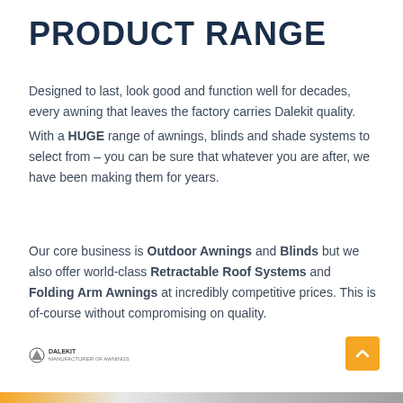PRODUCT RANGE
Designed to last, look good and function well for decades, every awning that leaves the factory carries Dalekit quality.
With a HUGE range of awnings, blinds and shade systems to select from – you can be sure that whatever you are after, we have been making them for years.
Our core business is Outdoor Awnings and Blinds but we also offer world-class Retractable Roof Systems and Folding Arm Awnings at incredibly competitive prices. This is of-course without compromising on quality.
[Figure (logo): Small company logo with icon and text]